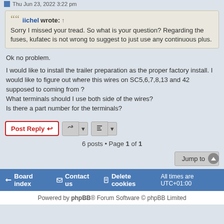Thu Jun 23, 2022 3:22 pm
iichel wrote: ↑
Sorry I missed your tread. So what is your question? Regarding the fuses, kufatec is not wrong to suggest to just use any continuous plus.
Ok no problem.

I would like to install the trailer preparation as the proper factory install. I would like to figure out where this wires on SC5,6,7,8,13 and 42 supposed to coming from ?
What terminals should I use both side of the wires?
Is there a part number for the terminals?
Post Reply
6 posts • Page 1 of 1
Jump to
Board index   Contact us   Delete cookies   All times are UTC+01:00
Powered by phpBB® Forum Software © phpBB Limited